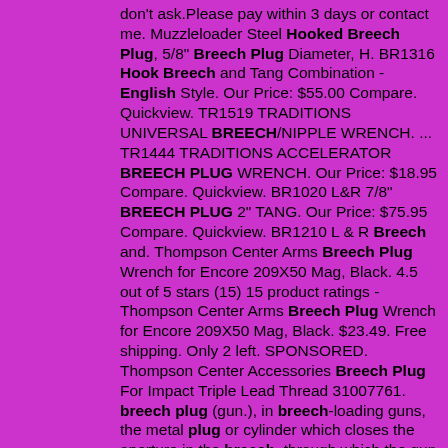don't ask.Please pay within 3 days or contact me. Muzzleloader Steel Hooked Breech Plug, 5/8" Breech Plug Diameter, H. BR1316 Hook Breech and Tang Combination - English Style. Our Price: $55.00 Compare. Quickview. TR1519 TRADITIONS UNIVERSAL BREECH/NIPPLE WRENCH. ... TR1444 TRADITIONS ACCELERATOR BREECH PLUG WRENCH. Our Price: $18.95 Compare. Quickview. BR1020 L&R 7/8" BREECH PLUG 2" TANG. Our Price: $75.95 Compare. Quickview. BR1210 L & R Breech and. Thompson Center Arms Breech Plug Wrench for Encore 209X50 Mag, Black. 4.5 out of 5 stars (15) 15 product ratings - Thompson Center Arms Breech Plug Wrench for Encore 209X50 Mag, Black. $23.49. Free shipping. Only 2 left. SPONSORED. Thompson Center Accessories Breech Plug For Impact Triple Lead Thread 31007761. breech plug (gun.), in breech-loading guns, the metal plug or cylinder which closes the aperture in the breech, through which the gun is loaded. plug board \plug board\ (elec.) a switchboard in which connections are made by means of plugs... see plug Dictionary source: hEnglish -. $72.95 BFG625 Griffith Flint Breech and Tang. 2022-6-25 · Vision Bare 209 Primer Muzzleloader Breech Plug; Mountaineer and Ultra-Lite Muzzleloader FPJ Breech Plug The CVA Wolf Muzzleloading Rifle has been redesigned with features typically found only on more expensive